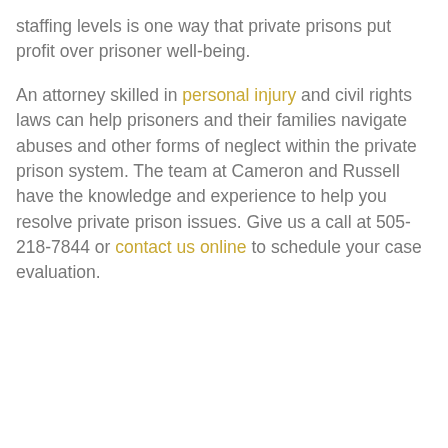staffing levels is one way that private prisons put profit over prisoner well-being.
An attorney skilled in personal injury and civil rights laws can help prisoners and their families navigate abuses and other forms of neglect within the private prison system. The team at Cameron and Russell have the knowledge and experience to help you resolve private prison issues. Give us a call at 505-218-7844 or contact us online to schedule your case evaluation.